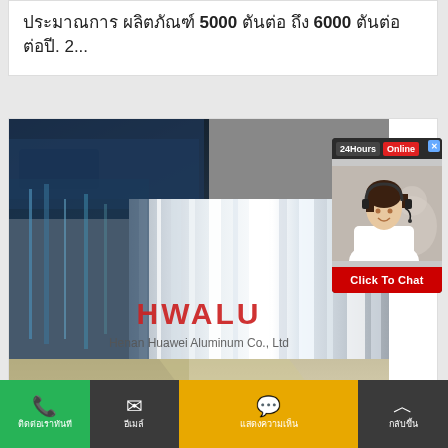ประมาณ 5000 ตัน ถึง 6000 ตัน ต่อปี. 2...
[Figure (photo): Industrial aluminum coil/sheet manufacturing process photo with HWALU (Henan Huawei Aluminum Co., Ltd) branding overlay]
[Figure (other): Live chat widget showing '24Hours Online' header with customer service representative photo and 'Click To Chat' button]
ติดต่อเราทันที | อีเมล์ | แสดงความเห็น | กลับขึ้น